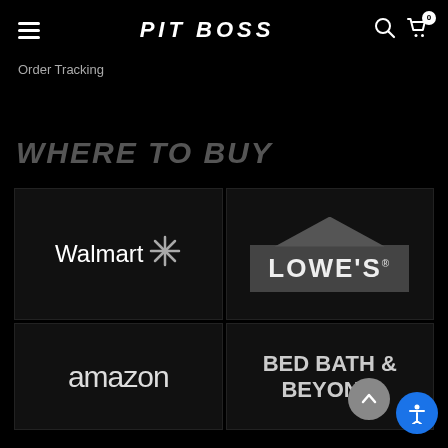PIT BOSS
Order Tracking
WHERE TO BUY
[Figure (logo): Walmart logo with spark asterisk icon]
[Figure (logo): Lowe's logo with house/roof icon]
[Figure (logo): Amazon logo wordmark]
[Figure (logo): Bed Bath & Beyond logo text (partially visible)]